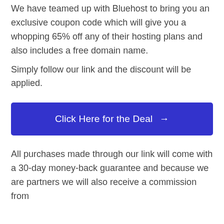We have teamed up with Bluehost to bring you an exclusive coupon code which will give you a whopping 65% off any of their hosting plans and also includes a free domain name.
Simply follow our link and the discount will be applied.
Click Here for the Deal →
All purchases made through our link will come with a 30-day money-back guarantee and because we are partners we will also receive a commission from